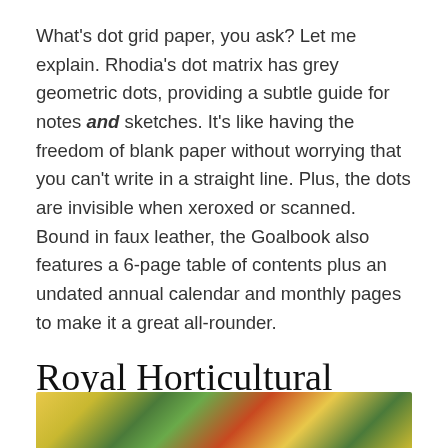What's dot grid paper, you ask? Let me explain. Rhodia's dot matrix has grey geometric dots, providing a subtle guide for notes and sketches. It's like having the freedom of blank paper without worrying that you can't write in a straight line. Plus, the dots are invisible when xeroxed or scanned. Bound in faux leather, the Goalbook also features a 6-page table of contents plus an undated annual calendar and monthly pages to make it a great all-rounder.
Royal Horticultural Society Diary 2021
[Figure (photo): Partial view of a colorful illustrated book cover with botanical/floral design in yellow, green, and red tones]